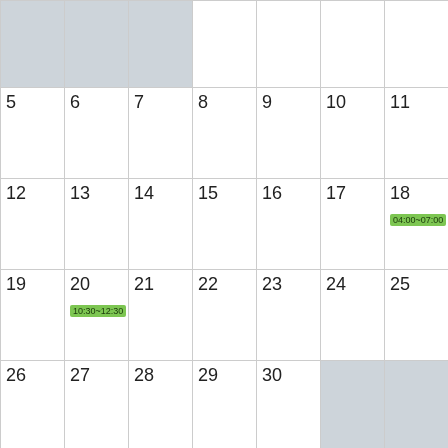| (gray) | (gray) | (gray) |  |  |  |  |
| 5 | 6 | 7 | 8 | 9 | 10 | 11 |
| 12 | 13 | 14 | 15 | 16 | 17 | 18 04:00~07:00 |
| 19 | 20 10:30~12:30 | 21 | 22 | 23 | 24 | 25 |
| 26 | 27 | 28 | 29 | 30 | (gray) | (gray) |